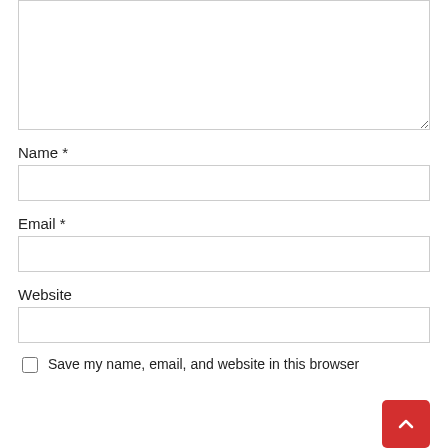[Figure (screenshot): Textarea input field (comment box), partially visible at top of page]
Name *
[Figure (screenshot): Text input field for Name]
Email *
[Figure (screenshot): Text input field for Email]
Website
[Figure (screenshot): Text input field for Website]
Save my name, email, and website in this browser
[Figure (screenshot): Red back-to-top button with upward chevron arrow, bottom right corner]